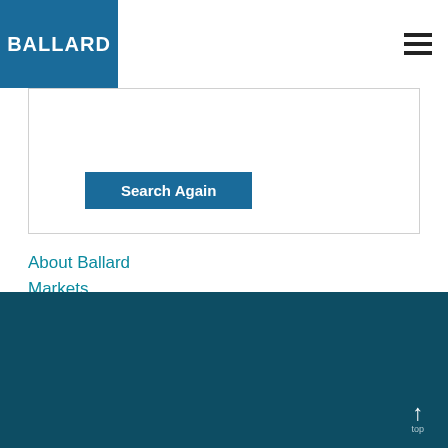[Figure (logo): Ballard Power Systems logo — blue square with white text BALLARD]
[Figure (other): Hamburger menu icon (three horizontal black lines)]
[Figure (other): Search Again button inside a white search box area]
About Ballard
Markets
Investors
Newsroom
Contact Us
Talk to our fuel cell expert
Ballard is focused on applications where hydrogen fuel cells have a clear advantage and we are working on accelerating fuel cell